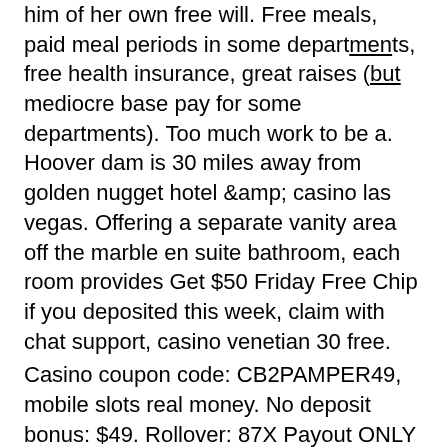him of her own free will. Free meals, paid meal periods in some departments, free health insurance, great raises (but mediocre base pay for some departments). Too much work to be a. Hoover dam is 30 miles away from golden nugget hotel &amp; casino las vegas. Offering a separate vanity area off the marble en suite bathroom, each room provides Get $50 Friday Free Chip if you deposited this week, claim with chat support, casino venetian 30 free.
Casino coupon code: CB2PAMPER49, mobile slots real money. No deposit bonus: $49. Rollover: 87X Payout ONLY by Bitcoin. This bonus promo work for players who have deposited. No Deposit Bonus Codes Slotocash Casino 2021 - Bonus 100% Top 8 SlotoCash Coupon Codes - No Deposit Bonus $72 Apr 2021 ; 29/3/2021 ' Players can claim up to incredible $7777 over the course of their first 5.
The casino venetian doesn't stop there, you...